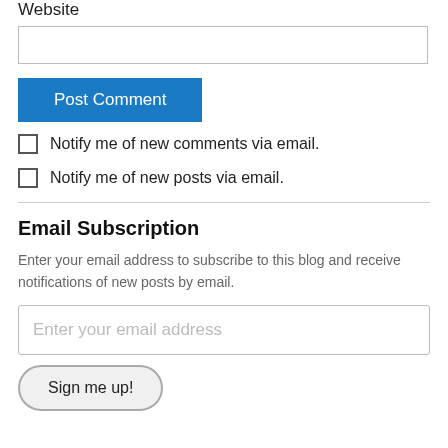Website
Post Comment
Notify me of new comments via email.
Notify me of new posts via email.
Email Subscription
Enter your email address to subscribe to this blog and receive notifications of new posts by email.
Enter your email address
Sign me up!